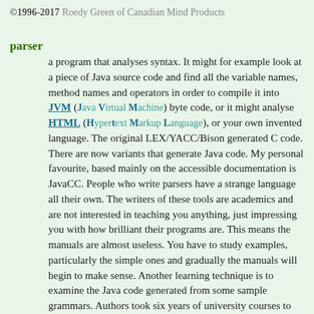©1996-2017 Roedy Green of Canadian Mind Products
parser
a program that analyses syntax. It might for example look at a piece of Java source code and find all the variable names, method names and operators in order to compile it into JVM (Java Virtual Machine) byte code, or it might analyse HTML (Hypertext Markup Language), or your own invented language. The original LEX/YACC/Bison generated C code. There are now variants that generate Java code. My personal favourite, based mainly on the accessible documentation is JavaCC. People who write parsers have a strange language all their own. The writers of these tools are academics and are not interested in teaching you anything, just impressing you with how brilliant their programs are. This means the manuals are almost useless. You have to study examples, particularly the simple ones and gradually the manuals will begin to make sense. Another learning technique is to examine the Java code generated from some sample grammars. Authors took six years of university courses to get to their level of parser understanding, why should they make it any easier for you?